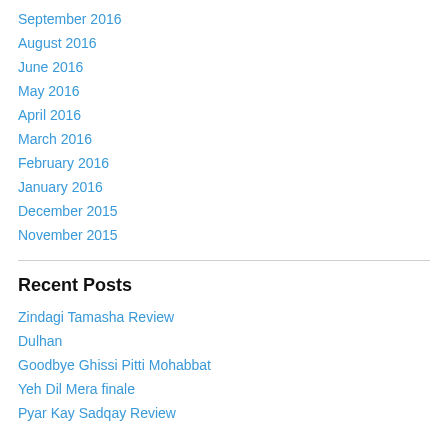September 2016
August 2016
June 2016
May 2016
April 2016
March 2016
February 2016
January 2016
December 2015
November 2015
Recent Posts
Zindagi Tamasha Review
Dulhan
Goodbye Ghissi Pitti Mohabbat
Yeh Dil Mera finale
Pyar Kay Sadqay Review